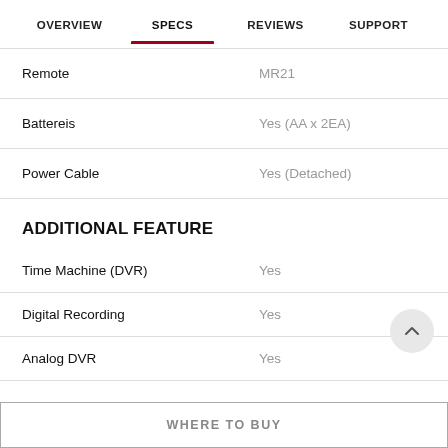OVERVIEW   SPECS   REVIEWS   SUPPORT
| Spec | Value |
| --- | --- |
| Remote | MR21 |
| Battereis | Yes (AA x 2EA) |
| Power Cable | Yes (Detached) |
ADDITIONAL FEATURE
| Spec | Value |
| --- | --- |
| Time Machine (DVR) | Yes |
| Digital Recording | Yes |
| Analog DVR | Yes |
WHERE TO BUY